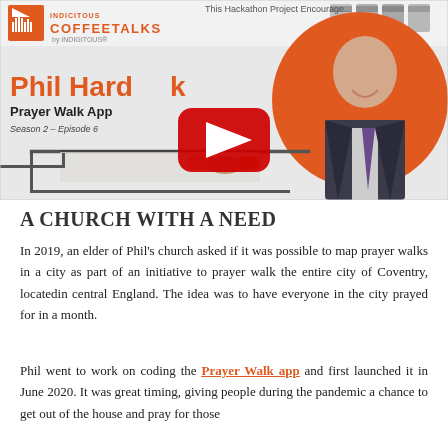[Figure (screenshot): YouTube video thumbnail for Indigitous CoffeeTalks featuring Phil Hardwick, Prayer Walk App, Season 2 - Episode 6. Shows a man in a suit with orange branding, YouTube play button overlay, and coffee counter illustration.]
A CHURCH WITH A NEED
In 2019, an elder of Phil's church asked if it was possible to map prayer walks in a city as part of an initiative to prayer walk the entire city of Coventry, locatedin central England. The idea was to have everyone in the city prayed for in a month.
Phil went to work on coding the Prayer Walk app and first launched it in June 2020. It was great timing, giving people during the pandemic a chance to get out of the house and pray for those